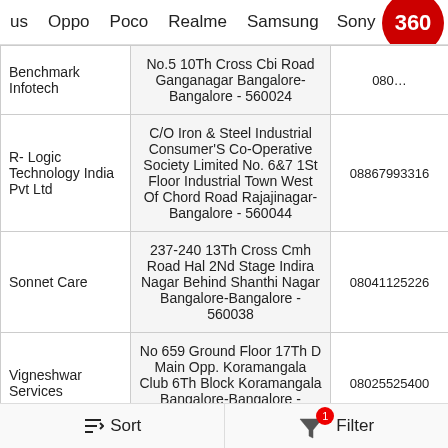us  Oppo  Poco  Realme  Samsung  Sony  Vivo  Mi  s
| Name | Address | Phone |
| --- | --- | --- |
| Benchmark Infotech | No.5 10Th Cross Cbi Road Ganganagar Bangalore-Bangalore - 560024 | 080… |
| R- Logic Technology India Pvt Ltd | C/O Iron & Steel Industrial Consumer'S Co-Operative Society Limited No. 6&7 1St Floor Industrial Town West Of Chord Road Rajajinagar-Bangalore - 560044 | 08867993316 |
| Sonnet Care | 237-240 13Th Cross Cmh Road Hal 2Nd Stage Indira Nagar Behind Shanthi Nagar Bangalore-Bangalore - 560038 | 08041125226 |
| Vigneshwar Services | No 659 Ground Floor 17Th D Main Opp. Koramangala Club 6Th Block Koramangala Bangalore-Bangalore - 650095 | 08025525400 |
Sort   Filter